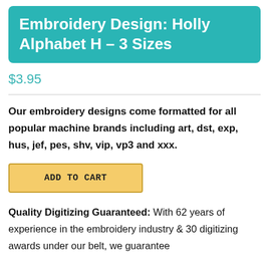Embroidery Design: Holly Alphabet H – 3 Sizes
$3.95
Our embroidery designs come formatted for all popular machine brands including art, dst, exp, hus, jef, pes, shv, vip, vp3 and xxx.
ADD TO CART
Quality Digitizing Guaranteed: With 62 years of experience in the embroidery industry & 30 digitizing awards under our belt, we guarantee